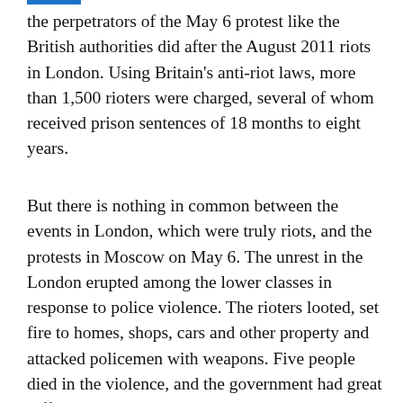the perpetrators of the May 6 protest like the British authorities did after the August 2011 riots in London. Using Britain's anti-riot laws, more than 1,500 rioters were charged, several of whom received prison sentences of 18 months to eight years.
But there is nothing in common between the events in London, which were truly riots, and the protests in Moscow on May 6. The unrest in the London erupted among the lower classes in response to police violence. The rioters looted, set fire to homes, shops, cars and other property and attacked policemen with weapons. Five people died in the violence, and the government had great difficulty bringing the situation under control. The British authorities